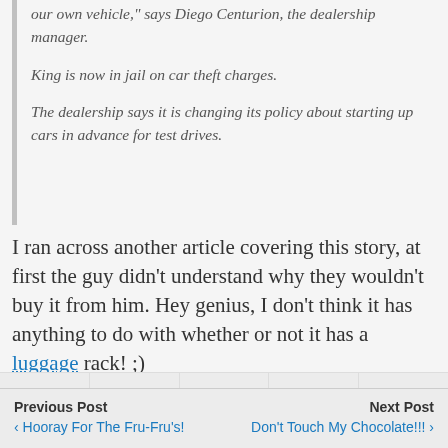our own vehicle," says Diego Centurion, the dealership manager.

King is now in jail on car theft charges.

The dealership says it is changing its policy about starting up cars in advance for test drives.
I ran across another article covering this story, at first the guy didn't understand why they wouldn't buy it from him. Hey genius, I don't think it has anything to do with whether or not it has a luggage rack! ;)
Share  Tweet  Pin  Mail  SMS
Previous Post  ‹ Hooray For The Fru-Fru's!    Next Post  Don't Touch My Chocolate!!! ›